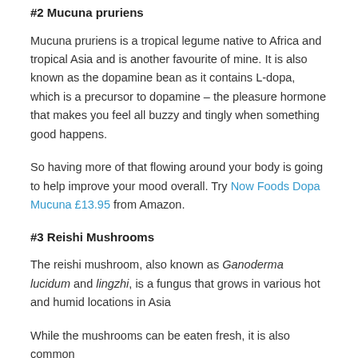#2 Mucuna pruriens
Mucuna pruriens is a tropical legume native to Africa and tropical Asia and is another favourite of mine. It is also known as the dopamine bean as it contains L-dopa, which is a precursor to dopamine – the pleasure hormone that makes you feel all buzzy and tingly when something good happens.
So having more of that flowing around your body is going to help improve your mood overall. Try Now Foods Dopa Mucuna £13.95 from Amazon.
#3 Reishi Mushrooms
The reishi mushroom, also known as Ganoderma lucidum and lingzhi, is a fungus that grows in various hot and humid locations in Asia
While the mushrooms can be eaten fresh, it is also common